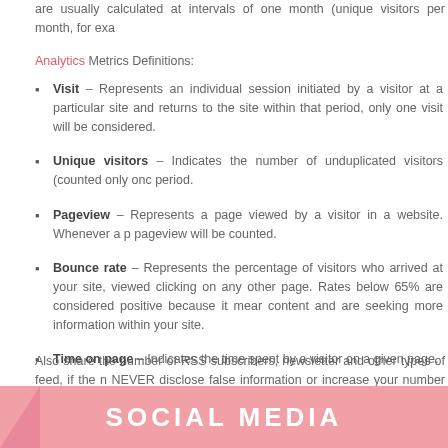are usually calculated at intervals of one month (unique visitors per month, for exa
Analytics Metrics Definitions:
Visit – Represents an individual session initiated by a visitor at a particular site and returns to the site within that period, only one visit will be considered.
Unique visitors – Indicates the number of unduplicated visitors (counted only once) period.
Pageview – Represents a page viewed by a visitor in a website. Whenever a p pageview will be counted.
Bounce rate – Represents the percentage of visitors who arrived at your site, viewed clicking on any other page. Rates below 65% are considered positive because it means content and are seeking more information within your site.
Time on page – Indicates the time spent by a visitor on a given page.
Also share the number of RSS subscribers, newsletter and other types of feed, if the n NEVER disclose false information or increase your number of visits or pageviews. If deliver, your relationship with sponsors might not end well. It is always advisable to kee advertisers (and readers).
SOCIAL MEDIA